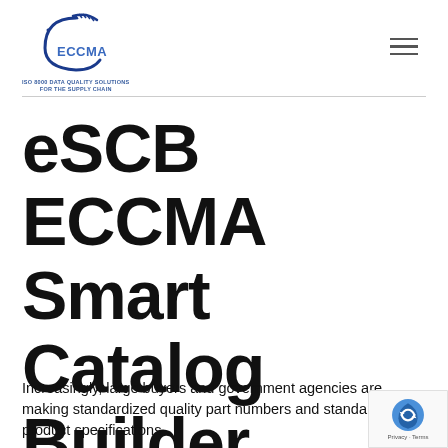ECCMA — ISO 8000 DATA QUALITY SOLUTIONS FOR THE SUPPLY CHAIN
eSCB ECCMA Smart Catalog Builder
Increasingly, large buyers and government agencies are making standardized quality part numbers and standardized product specifications